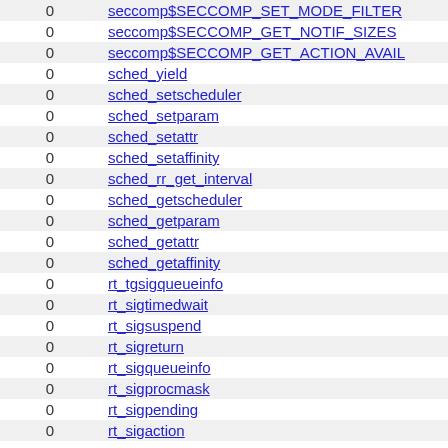| 0 | name |
| --- | --- |
| 0 | seccomp$SECCOMP_SET_MODE_FILTER |
| 0 | seccomp$SECCOMP_GET_NOTIF_SIZES |
| 0 | seccomp$SECCOMP_GET_ACTION_AVAIL |
| 0 | sched_yield |
| 0 | sched_setscheduler |
| 0 | sched_setparam |
| 0 | sched_setattr |
| 0 | sched_setaffinity |
| 0 | sched_rr_get_interval |
| 0 | sched_getscheduler |
| 0 | sched_getparam |
| 0 | sched_getattr |
| 0 | sched_getaffinity |
| 0 | rt_tgsigqueueinfo |
| 0 | rt_sigtimedwait |
| 0 | rt_sigsuspend |
| 0 | rt_sigreturn |
| 0 | rt_sigqueueinfo |
| 0 | rt_sigprocmask |
| 0 | rt_sigpending |
| 0 | rt_sigaction |